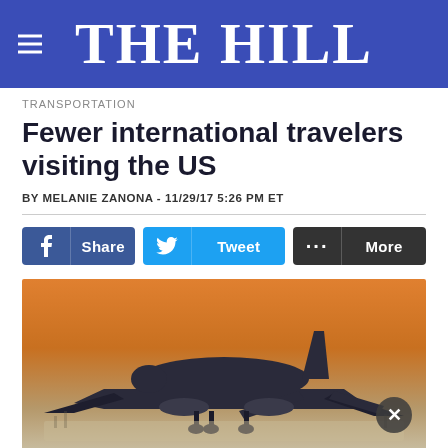THE HILL
TRANSPORTATION
Fewer international travelers visiting the US
BY MELANIE ZANONA - 11/29/17 5:26 PM ET
[Figure (screenshot): Social sharing buttons: Facebook Share, Twitter Tweet, More]
[Figure (photo): Photograph of a commercial airplane taking off against an orange sunset sky, viewed from behind/below]